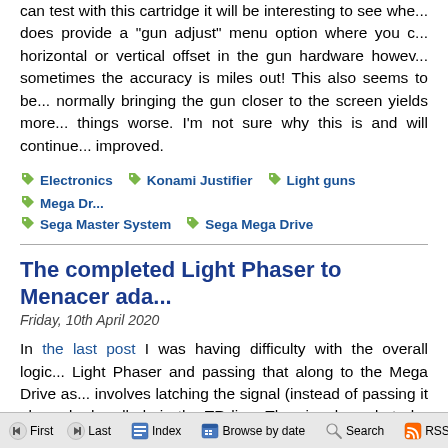can test with this cartridge it will be interesting to see whe... does provide a "gun adjust" menu option where you c... horizontal or vertical offset in the gun hardware howev... sometimes the accuracy is miles out! This also seems to be... normally bringing the gun closer to the screen yields more... things worse. I'm not sure why this is and will continue... improved.
Electronics
Konami Justifier
Light guns
Mega Dr...
Sega Master System
Sega Mega Drive
The completed Light Phaser to Menacer ada...
Friday, 10th April 2020
In the last post I was having difficulty with the overall logic... Light Phaser and passing that along to the Mega Drive as... involves latching the signal (instead of passing it along d... handled via the TR line. The signal needs to be delayed a... the Menacer's wireless communications; without this delay... gated using the TL line; I'm not entirely sure why this is don... it's part of the original receiver so I thought it best to implem...
First   Last   Index   Browse by date   Search   RSS